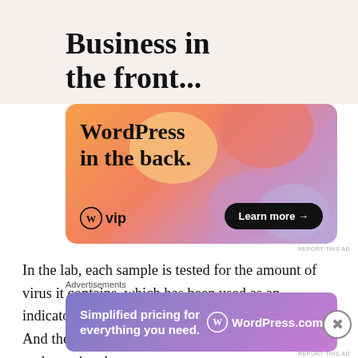Business in the front...
[Figure (advertisement): WordPress VIP ad with colorful gradient background (orange, pink, lavender blobs). Text: 'WordPress in the back.' Logo: W circle with 'vip'. Button: 'Learn more →']
REPORT THIS AD
In the lab, each sample is tested for the amount of virus it contains, which has been used as an indicator for contagiousness and severity of illness. And the full RNA genome of the virus is sequenced to determine the
Advertisements
[Figure (advertisement): WordPress.com ad with purple/lavender gradient background. Text: 'Simplified pricing for everything you need.' Logo: W circle WordPress.com]